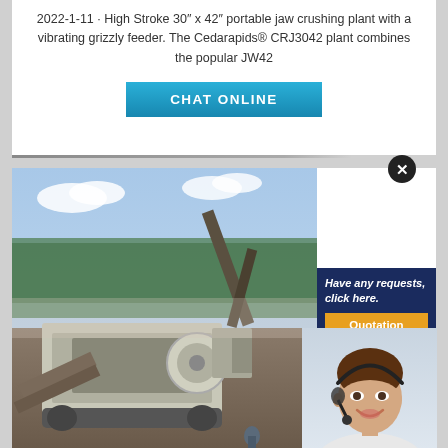2022-1-11 · High Stroke 30" x 42" portable jaw crushing plant with a vibrating grizzly feeder. The Cedarapids® CRJ3042 plant combines the popular JW42
[Figure (other): Blue gradient 'CHAT ONLINE' button]
[Figure (photo): Construction site with excavator and portable jaw crushing plant machinery]
[Figure (photo): Customer service woman with headset smiling]
Have any requests, click here.
Quotation
Enquiry
limingjlmofen@sina.com